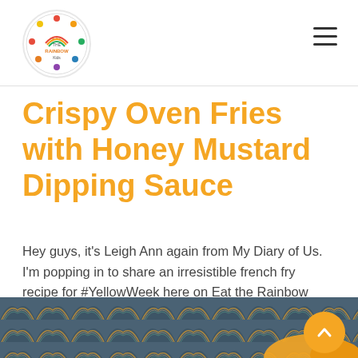Eat the Rainbow Kids logo and navigation
Crispy Oven Fries with Honey Mustard Dipping Sauce
Hey guys, it's Leigh Ann again from My Diary of Us.  I'm popping in to share an irresistible french fry recipe for #YellowWeek here on Eat the Rainbow Kids that your whole family is going to love.  French fries are one of those foods that I can never get enough of or pass up if [...]
[Figure (photo): Rainbow pattern fabric/background with food image partially visible at bottom, and orange scroll-to-top button]